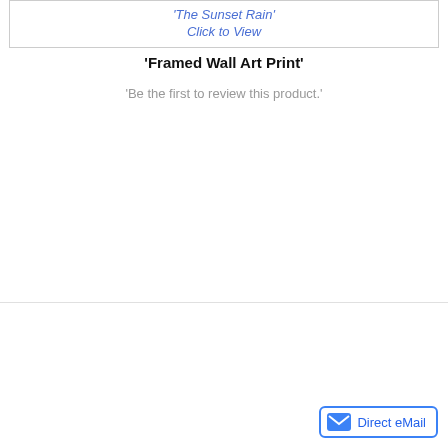[Figure (screenshot): Box with blue italic text: 'The Sunset Rain' and 'Click to View']
'Framed Wall Art Print'
'Be the first to review this product.'
[Figure (other): Direct eMail button with envelope icon]